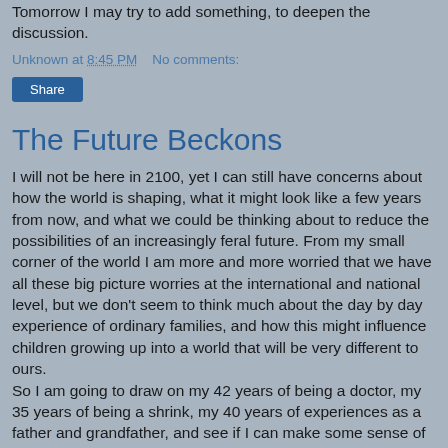Tomorrow I may try to add something, to deepen the discussion.
Unknown at 8:45 PM    No comments:
Share
The Future Beckons
I will not be here in 2100, yet I can still have concerns about how the world is shaping, what it might look like a few years from now, and what we could be thinking about to reduce the possibilities of an increasingly feral future. From my small corner of the world I am more and more worried that we have all these big picture worries at the international and national level, but we don't seem to think much about the day by day experience of ordinary families, and how this might influence children growing up into a world that will be very different to ours.
So I am going to draw on my 42 years of being a doctor, my 35 years of being a shrink, my 40 years of experiences as a father and grandfather, and see if I can make some sense of what I am experiencing at this point toward the end of what has been a stellar